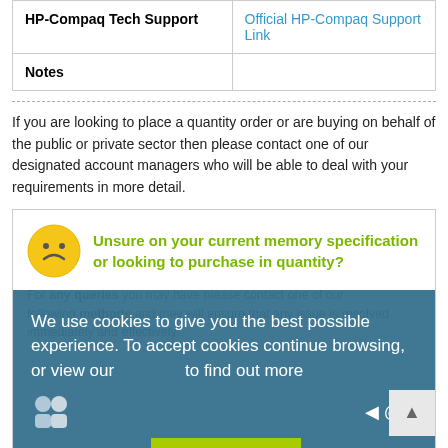| HP-Compaq Tech Support |  |
| --- | --- |
| HP-Compaq Tech Support | Official HP-Compaq Support Link |
| Notes |  |
If you are looking to place a quantity order or are buying on behalf of the public or private sector then please contact one of our designated account managers who will be able to deal with your requirements in more detail.
[Figure (infographic): Info box with sad face emoji and text about memory specification queries, overlaid by a cookie consent banner with a green X button and contact options for Live Chat and sales@offtek.co.uk]